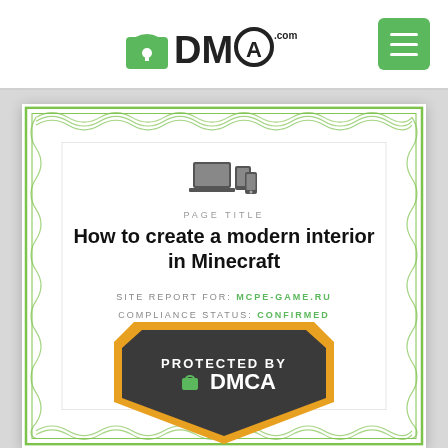[Figure (logo): DMCA.com logo with padlock icon]
[Figure (infographic): DMCA certificate with green guilloche border, device icons, page title, site report, compliance status, and DMCA protected badge]
PAGE TITLE
How to create a modern interior in Minecraft
SITE REPORT FOR: mcpe-game.ru
COMPLIANCE STATUS: Confirmed